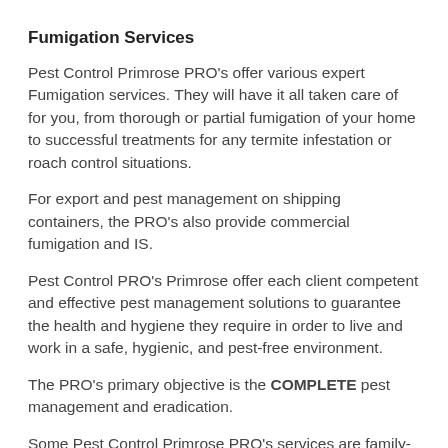Fumigation Services
Pest Control Primrose PRO's offer various expert Fumigation services. They will have it all taken care of for you, from thorough or partial fumigation of your home to successful treatments for any termite infestation or roach control situations.
For export and pest management on shipping containers, the PRO's also provide commercial fumigation and IS.
Pest Control PRO's Primrose offer each client competent and effective pest management solutions to guarantee the health and hygiene they require in order to live and work in a safe, hygienic, and pest-free environment.
The PRO's primary objective is the COMPLETE pest management and eradication.
Some Pest Control Primrose PRO's services are family-